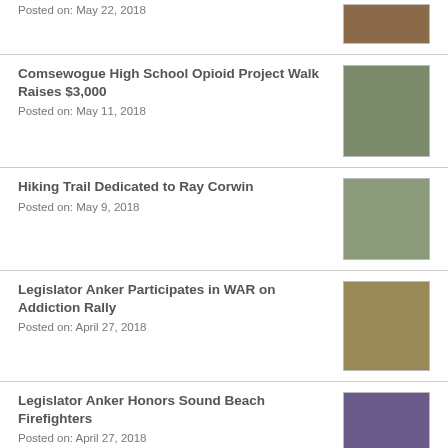Posted on: May 22, 2018
Comsewogue High School Opioid Project Walk Raises $3,000
Posted on: May 11, 2018
Hiking Trail Dedicated to Ray Corwin
Posted on: May 9, 2018
Legislator Anker Participates in WAR on Addiction Rally
Posted on: April 27, 2018
Legislator Anker Honors Sound Beach Firefighters
Posted on: April 27, 2018
Legislator Anker Attends Operation-Initiative Foundation Workshop for Veterans